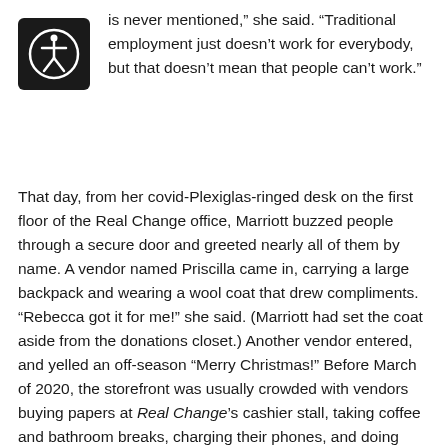[Figure (logo): Black square with white accessibility icon (person in circle) in top-left corner]
is never mentioned,” she said. “Traditional employment just doesn’t work for everybody, but that doesn’t mean that people can’t work.”
That day, from her covid-Plexiglas-ringed desk on the first floor of the Real Change office, Marriott buzzed people through a secure door and greeted nearly all of them by name. A vendor named Priscilla came in, carrying a large backpack and wearing a wool coat that drew compliments. “Rebecca got it for me!” she said. (Marriott had set the coat aside from the donations closet.) Another vendor entered, and yelled an off-season “Merry Christmas!” Before March of 2020, the storefront was usually crowded with vendors buying papers at Real Change’s cashier stall, taking coffee and bathroom breaks, charging their phones, and doing research on office…